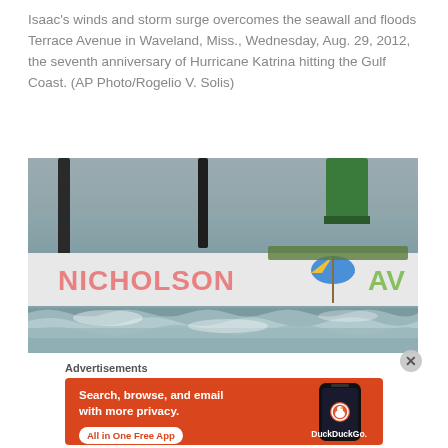Isaac's winds and storm surge overcomes the seawall and floods Terrace Avenue in Waveland, Miss., Wednesday, Aug. 29, 2012, the seventh anniversary of Hurricane Katrina hitting the Gulf Coast. (AP Photo/Rogelio V. Solis)
[Figure (photo): Flooding scene showing storm surge water overwhelming a seawall with a painted mural reading partial text including 'NICHOLSON' with beach umbrella graphic, shot in stormy weather conditions in Waveland, Mississippi.]
Advertisements
[Figure (screenshot): DuckDuckGo advertisement banner with orange background. Text reads: 'Search, browse, and email with more privacy. All in One Free App'. Shows a smartphone with the DuckDuckGo app and logo.]